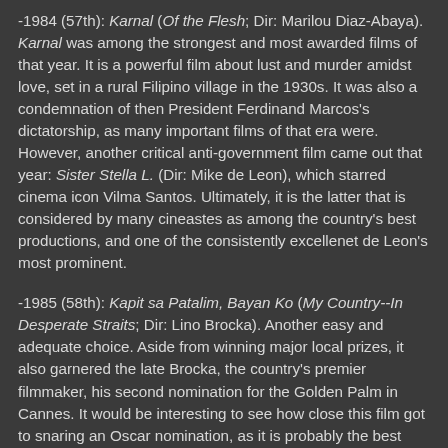-1984 (57th): Karnal (Of the Flesh; Dir: Marilou Diaz-Abaya). Karnal was among the strongest and most awarded films of that year. It is a powerful film about lust and murder amidst love, set in a rural Filipino village in the 1930s. It was also a condemnation of then President Ferdinand Marcos's dictatorship, as many important films of that era were. However, another critical anti-government film came out that year: Sister Stella L. (Dir: Mike de Leon), which starred cinema icon Vilma Santos. Ultimately, it is the latter that is considered by many cineastes as among the country's best productions, and one of the consistently excellenet de Leon's most prominent.
-1985 (58th): Kapit sa Patalim, Bayan Ko (My Country--In Desperate Straits; Dir: Lino Brocka). Another easy and adequate choice. Aside from winning major local prizes, it also garnered the late Brocka, the country's premier filmmaker, his second nomination for the Golden Palm in Cannes. It would be interesting to see how close this film got to snaring an Oscar nomination, as it is probably the best choice for a submission that the country has made since it